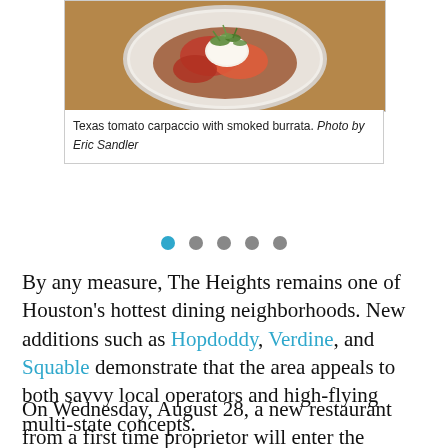[Figure (photo): A white plate with Texas tomato carpaccio topped with smoked burrata and greens, served on a wooden surface.]
Texas tomato carpaccio with smoked burrata. Photo by Eric Sandler
By any measure, The Heights remains one of Houston's hottest dining neighborhoods. New additions such as Hopdoddy, Verdine, and Squable demonstrate that the area appeals to both savvy local operators and high-flying multi-state concepts.
On Wednesday, August 28, a new restaurant from a first time proprietor will enter the market with an eclectic menu, an elegant dining room, and an epic amount of wine.